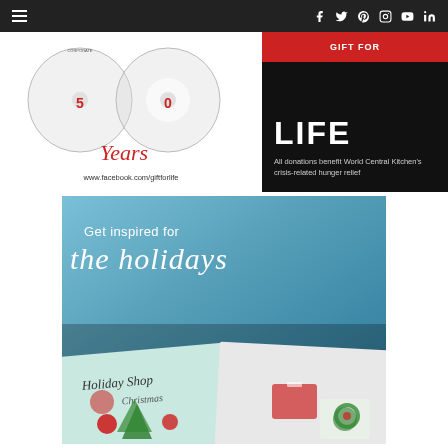Navigation bar with hamburger menu and social icons: Facebook, Twitter, Pinterest, Instagram, YouTube, LinkedIn
[Figure (illustration): 50 Years anniversary logo with CD/disc imagery, 'Years' in red italic script, and URL www.facebook.com/giftforlife]
[Figure (illustration): Dark panel advertisement with 'LIFE' in large white bold text and body text 'All donations benefit World Central Kitchen's crisis-related hunger relief']
[Figure (illustration): Holiday catalog advertisement with teal/blue background, text 'Get inspired for the holidays' in white, and Christmas-themed catalog pages showing holiday decorations and gifts at the bottom]